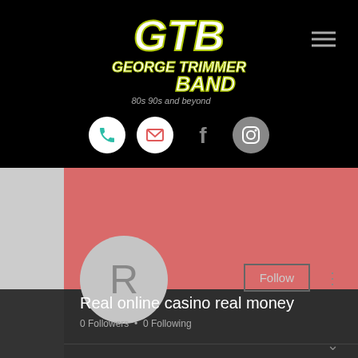[Figure (logo): George Trimmer Band logo - GTB stylized text with '80s 90s and beyond' tagline on black background with hamburger menu icon and social media icons (phone, email, Facebook, Instagram)]
[Figure (screenshot): Profile page section showing pink/salmon header, gray avatar circle with letter R, Follow button, three-dot menu, profile name 'Real online casino real money', and '0 Followers • 0 Following' text on dark background]